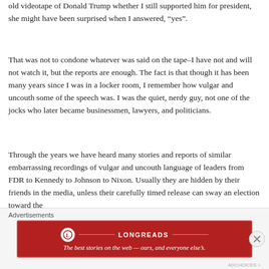old videotape of Donald Trump whether I still supported him for president, she might have been surprised when I answered, “yes”.
That was not to condone whatever was said on the tape–I have not and will not watch it, but the reports are enough. The fact is that though it has been many years since I was in a locker room, I remember how vulgar and uncouth some of the speech was. I was the quiet, nerdy guy, not one of the jocks who later became businessmen, lawyers, and politicians.
Through the years we have heard many stories and reports of similar embarrassing recordings of vulgar and uncouth language of leaders from FDR to Kennedy to Johnson to Nixon. Usually they are hidden by their friends in the media, unless their carefully timed release can sway an election toward the
Advertisements
[Figure (other): Longreads advertisement banner with red background, circular logo, brand name LONGREADS, and tagline: The best stories on the web - ours, and everyone else's.]